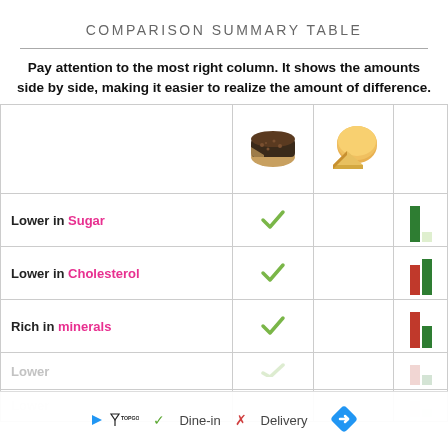COMPARISON SUMMARY TABLE
Pay attention to the most right column. It shows the amounts side by side, making it easier to realize the amount of difference.
|  | Cheese A (dark) | Cheese B (light) | Comparison bars |
| --- | --- | --- | --- |
| Lower in Sugar | ✓ |  | green taller bar |
| Lower in Cholesterol | ✓ |  | green taller, red shorter |
| Rich in minerals | ✓ |  | red taller, green shorter |
| Lower |  |  | bar (partial) |
| Lower |  |  | bar (partial, faded) |